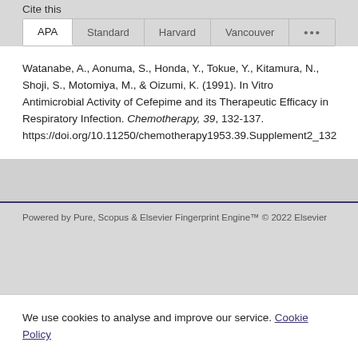Cite this
APA | Standard | Harvard | Vancouver | ...
Watanabe, A., Aonuma, S., Honda, Y., Tokue, Y., Kitamura, N., Shoji, S., Motomiya, M., & Oizumi, K. (1991). In Vitro Antimicrobial Activity of Cefepime and its Therapeutic Efficacy in Respiratory Infection. Chemotherapy, 39, 132-137. https://doi.org/10.11250/chemotherapy1953.39.Supplement2_132
Powered by Pure, Scopus & Elsevier Fingerprint Engine™ © 2022 Elsevier
We use cookies to analyse and improve our service. Cookie Policy